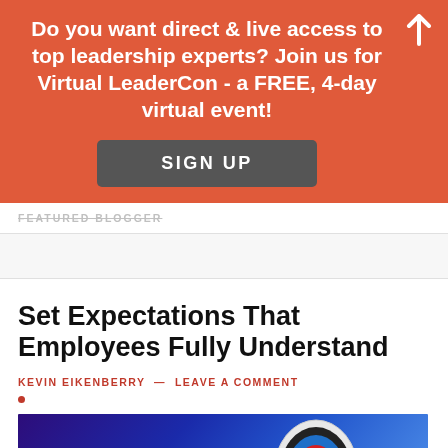[Figure (infographic): Orange promotional banner with white bold text: 'Do you want direct & live access to top leadership experts? Join us for Virtual LeaderCon - a FREE, 4-day virtual event!' with a gray SIGN UP button and a white up-arrow icon in the top right corner.]
FEATURED BLOGGER
Set Expectations That Employees Fully Understand
KEVIN EIKENBERRY  —  LEAVE A COMMENT
[Figure (photo): Photo of an archery target with arrows stuck in it against a blue/purple gradient background.]